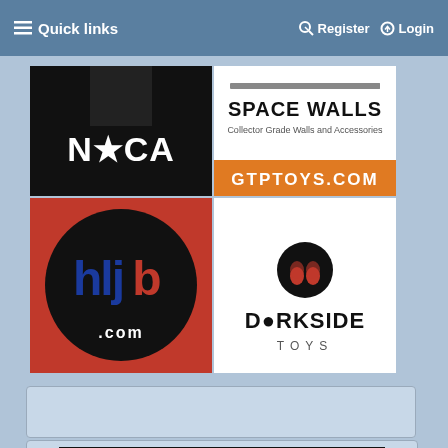☰ Quick links   🔍 Register   ⏻ Login
[Figure (logo): NECA toy company logo on black background]
[Figure (logo): Space Walls Collector Grade Walls and Accessories logo above GTPTOYS.COM orange banner]
[Figure (logo): HLJ.com logo on red background with black circle]
[Figure (logo): Dorkside Toys logo on white background with skull graphic]
[Figure (screenshot): Advertisement/embed box, partially visible at bottom showing dark banner]